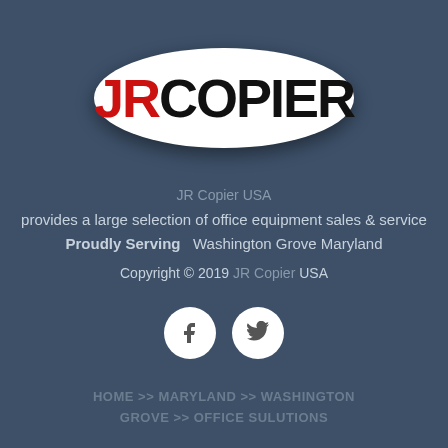[Figure (logo): JR Copier logo — white oval with red 'JR' and black 'COPIER' text]
JR Copier USA
provides a large selection of office equipment sales & service
Proudly Serving   Washington Grove Maryland
Copyright © 2019 JR Copier USA
[Figure (illustration): Facebook and Twitter social media icons as white circles with grey symbols]
HOME >> MARYLAND >> WASHINGTON GROVE >> OFFICE SULUTIONS